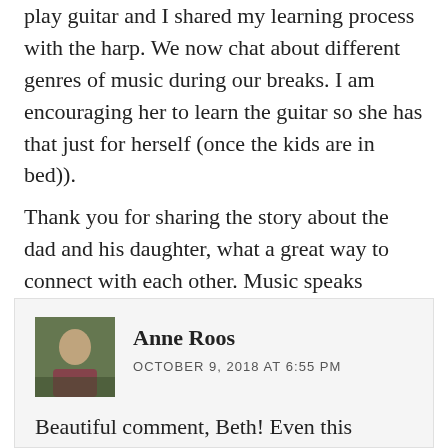play guitar and I shared my learning process with the harp. We now chat about different genres of music during our breaks. I am encouraging her to learn the guitar so she has that just for herself (once the kids are in bed)).
Thank you for sharing the story about the dad and his daughter, what a great way to connect with each other. Music speaks volumes especially when you don't know what to say. Hope you have an amazing day.
Anne Roos
OCTOBER 9, 2018 AT 6:55 PM
Beautiful comment, Beth! Even this discussion with